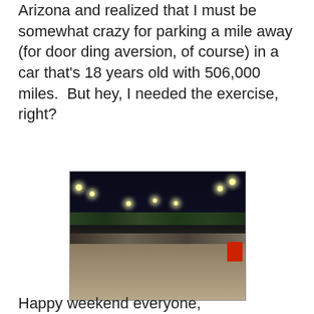Arizona and realized that I must be somewhat crazy for parking a mile away (for door ding aversion, of course) in a car that's 18 years old with 506,000 miles.  But hey, I needed the exercise, right?
[Figure (photo): Nighttime photo of a large parking lot with street lights, trees visible in the background, a few cars parked, and a red car visible on the right edge.]
Happy weekend everyone,